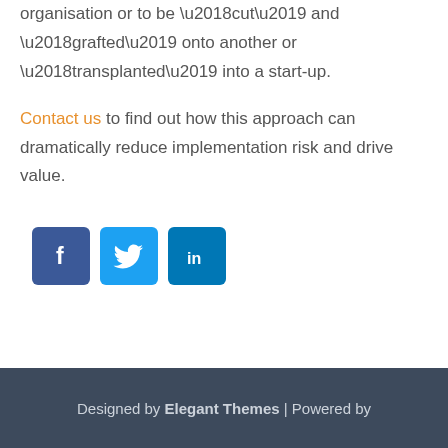technology to grow into a branch of the organisation or to be ‘cut’ and ‘grafted’ onto another or ‘transplanted’ into a start-up.
Contact us to find out how this approach can dramatically reduce implementation risk and drive value.
[Figure (infographic): Three social media icon buttons: Facebook (dark blue), Twitter (light blue), LinkedIn (medium blue)]
Designed by Elegant Themes | Powered by